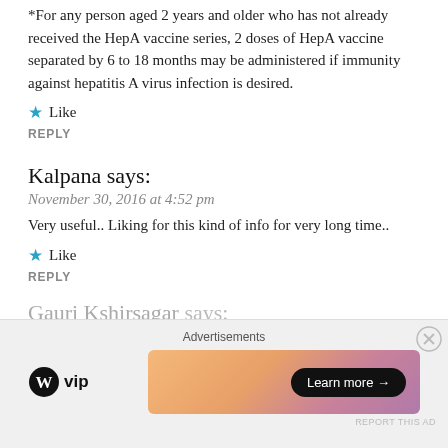*For any person aged 2 years and older who has not already received the HepA vaccine series, 2 doses of HepA vaccine separated by 6 to 18 months may be administered if immunity against hepatitis A virus infection is desired.
★ Like
REPLY
Kalpana says:
November 30, 2016 at 4:52 pm
Very useful.. Liking for this kind of info for very long time..
★ Like
REPLY
Gauri Kshirsagar says:
[Figure (infographic): Advertisements banner with WordPress VIP logo and a colorful gradient ad with 'Learn more' button. Close (X) button in top right corner.]